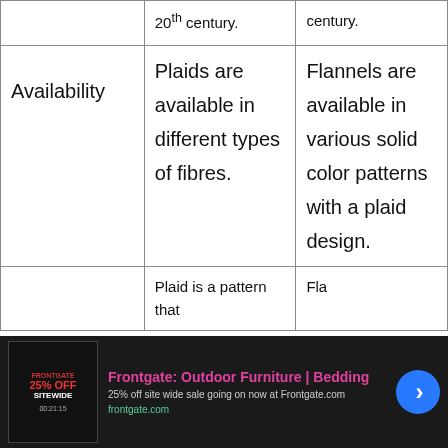|  | 20th century | Century |
| --- | --- | --- |
| Availability | Plaids are available in different types of fibres. | Flannels are available in various solid color patterns with a plaid design. |
|  | Plaid is a pattern that | Fla... |